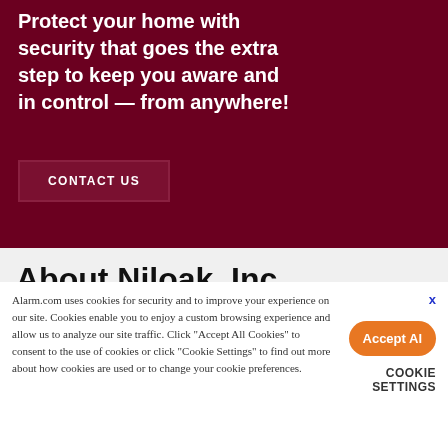Protect your home with security that goes the extra step to keep you aware and in control — from anywhere!
CONTACT US
About Niloak, Inc.
Alarm.com uses cookies for security and to improve your experience on our site. Cookies enable you to enjoy a custom browsing experience and allow us to analyze our site traffic. Click “Accept All Cookies” to consent to the use of cookies or click “Cookie Settings” to find out more about how cookies are used or to change your cookie preferences.
Accept All
COOKIE SETTINGS